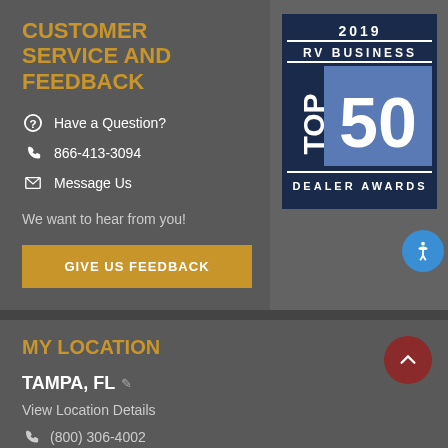CUSTOMER SERVICE AND FEEDBACK
Have a Question?
866-413-3094
Message Us
We want to hear from you!
GIVE US FEEDBACK
[Figure (logo): 2019 RV Business Top 50 Dealer Awards badge]
MY LOCATION
TAMPA, FL
View Location Details
(800) 306-4002
6130 Lazy Days Boulevard, Tampa, FL 33584